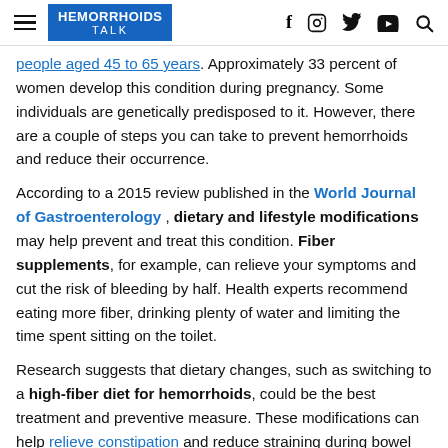HEMORRHOIDS TALK (logo) | social icons: f, instagram, twitter, youtube, search
people aged 45 to 65 years. Approximately 33 percent of women develop this condition during pregnancy. Some individuals are genetically predisposed to it. However, there are a couple of steps you can take to prevent hemorrhoids and reduce their occurrence.
According to a 2015 review published in the World Journal of Gastroenterology, dietary and lifestyle modifications may help prevent and treat this condition. Fiber supplements, for example, can relieve your symptoms and cut the risk of bleeding by half. Health experts recommend eating more fiber, drinking plenty of water and limiting the time spent sitting on the toilet.
Research suggests that dietary changes, such as switching to a high-fiber diet for hemorrhoids, could be the best treatment and preventive measure. These modifications can help relieve constipation and reduce straining during bowel